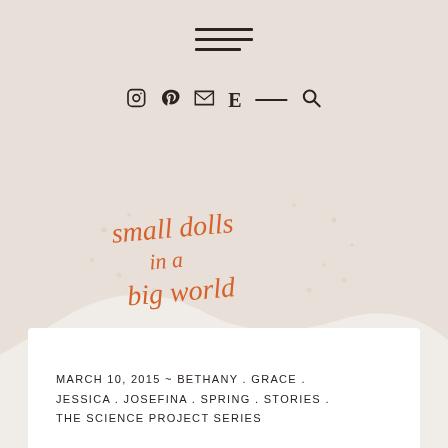[Figure (illustration): Website header with hamburger menu icon (three horizontal lines), social media icons row (Instagram circle, Pinterest P, envelope/email, Etsy E, dash separator, search magnifier), wavy beige background shape, and handwritten-style orange text logo reading 'small dolls in a big world' with decorative dot accents]
MARCH 10, 2015 ~ BETHANY . GRACE . JESSICA . JOSEFINA . SPRING . STORIES . THE SCIENCE PROJECT SERIES